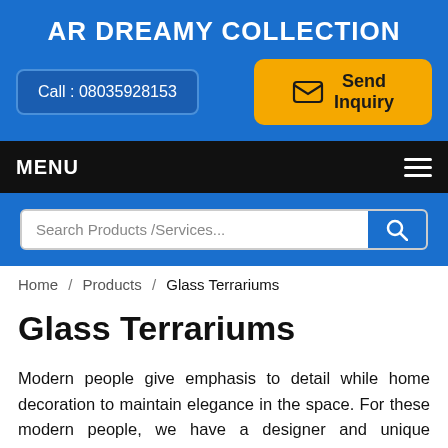AR DREAMY COLLECTION
Call : 08035928153
Send Inquiry
MENU
Search Products /Services...
Home / Products / Glass Terrariums
Glass Terrariums
Modern people give emphasis to detail while home decoration to maintain elegance in the space. For these modern people, we have a designer and unique collection of Glass Box available in multiple designs and colors for planting purpose, safekeeping essentials, and more. Our